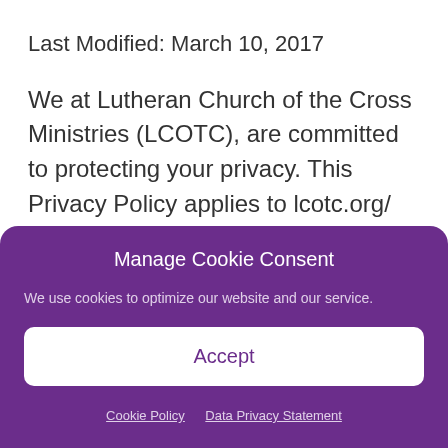Last Modified: March 10, 2017
We at Lutheran Church of the Cross Ministries (LCOTC), are committed to protecting your privacy. This Privacy Policy applies to lcotc.org/ and lccpreschool.org. This Privacy Policy governs our data collection, processing, and usage
Manage Cookie Consent
We use cookies to optimize our website and our service.
Accept
Cookie Policy   Data Privacy Statement